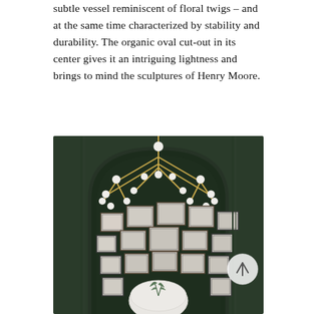subtle vessel reminiscent of floral twigs – and at the same time characterized by stability and durability. The organic oval cut-out in its center gives it an intriguing lightness and brings to mind the sculptures of Henry Moore.
[Figure (photo): An interior room with dark green walls and a large arched doorway. A gold chandelier with white globe lights hangs from the ceiling. Multiple black-and-white framed artworks are arranged in a gallery wall pattern within the arch. A round white pedestal table with a plant sits below.]